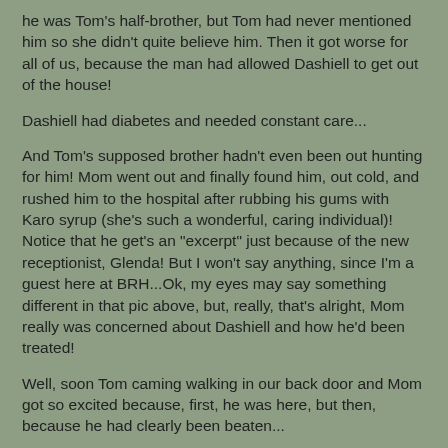he was Tom's half-brother, but Tom had never mentioned him so she didn't quite believe him. Then it got worse for all of us, because the man had allowed Dashiell to get out of the house!
Dashiell had diabetes and needed constant care...
And Tom's supposed brother hadn't even been out hunting for him! Mom went out and finally found him, out cold, and rushed him to the hospital after rubbing his gums with Karo syrup (she's such a wonderful, caring individual)! Notice that he get's an "excerpt" just because of the new receptionist, Glenda! But I won't say anything, since I'm a guest here at BRH...Ok, my eyes may say something different in that pic above, but, really, that's alright, Mom really was concerned about Dashiell and how he'd been treated!
Well, soon Tom caming walking in our back door and Mom got so excited because, first, he was here, but then, because he had clearly been beaten...